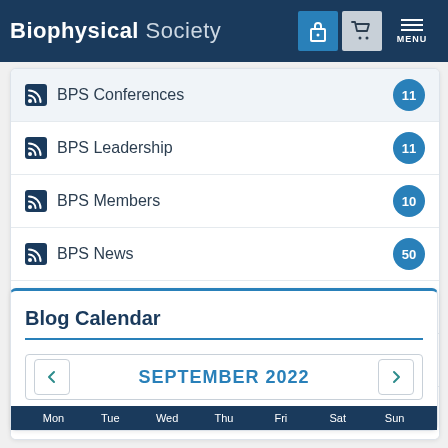Biophysical Society — MENU
BPS Conferences — 11 (partially visible)
BPS Leadership — 11
BPS Members — 10
BPS News — 50
Careers — 70
CPOW — 21
Disease Awareness — 50
Blog Calendar
SEPTEMBER 2022